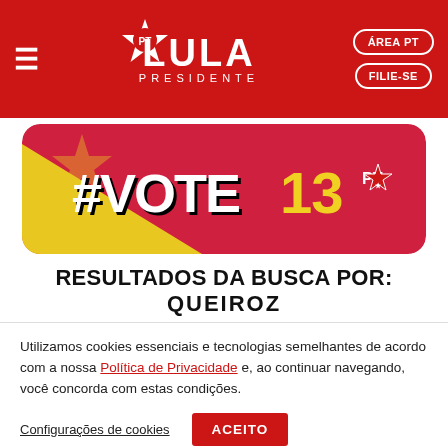PT Lula Presidente — ÁREA PT | FILIE-SE
[Figure (illustration): #VOTE13 PT campaign banner with red and yellow background]
RESULTADOS DA BUSCA POR: QUEIROZ
Utilizamos cookies essenciais e tecnologias semelhantes de acordo com a nossa Política de Privacidade e, ao continuar navegando, você concorda com estas condições.
Configurações de cookies | ACEITO